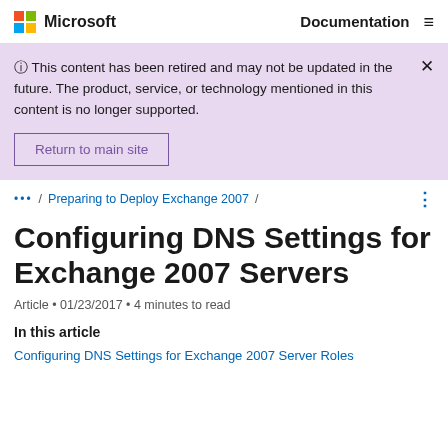Microsoft   Documentation
⊙ This content has been retired and may not be updated in the future. The product, service, or technology mentioned in this content is no longer supported.
Return to main site
... / Preparing to Deploy Exchange 2007 /
Configuring DNS Settings for Exchange 2007 Servers
Article • 01/23/2017 • 4 minutes to read
In this article
Configuring DNS Settings for Exchange 2007 Server Roles